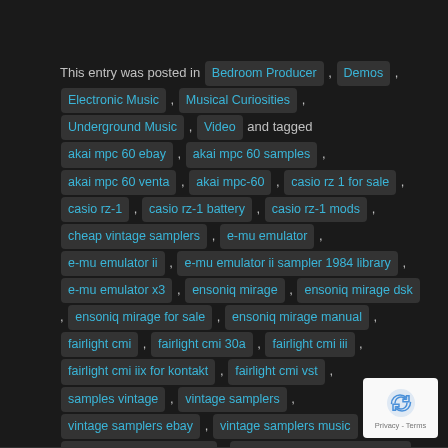This entry was posted in Bedroom Producer , Demos , Electronic Music , Musical Curiosities , Underground Music , Video and tagged akai mpc 60 ebay , akai mpc 60 samples , akai mpc 60 venta , akai mpc-60 , casio rz 1 for sale , casio rz-1 , casio rz-1 battery , casio rz-1 mods , cheap vintage samplers , e-mu emulator , e-mu emulator ii , e-mu emulator ii sampler 1984 library , e-mu emulator x3 , ensoniq mirage , ensoniq mirage dsk , ensoniq mirage for sale , ensoniq mirage manual , fairlight cmi , fairlight cmi 30a , fairlight cmi iii , fairlight cmi iix for kontakt , fairlight cmi vst , samples vintage , vintage samplers , vintage samplers ebay , vintage samplers music , vintage samplers on ebay , vintage samplers on ruby lane , vintage samplers patterns , vintage samplers polish poland , vintage samplers uk March 21, 2015 by DemonicSweaters .